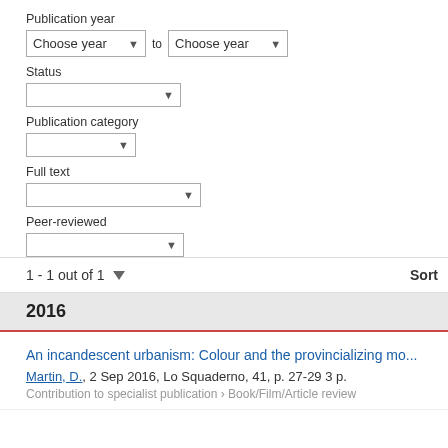Publication year
Choose year to Choose year
Status
Publication category
Full text
Peer-reviewed
1 - 1 out of 1
Sort
2016
An incandescent urbanism: Colour and the provincializing mo...
Martin, D., 2 Sep 2016, Lo Squaderno, 41, p. 27-29 3 p.
Contribution to specialist publication › Book/Film/Article review